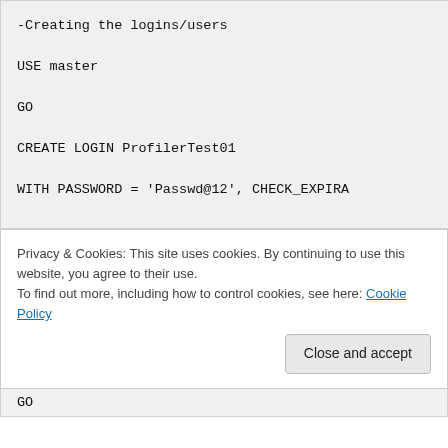-Creating the logins/users

USE master

GO

CREATE LOGIN ProfilerTest01

WITH PASSWORD = 'Passwd@12', CHECK_EXPIRA
Privacy & Cookies: This site uses cookies. By continuing to use this website, you agree to their use.
To find out more, including how to control cookies, see here: Cookie Policy
Close and accept
GO